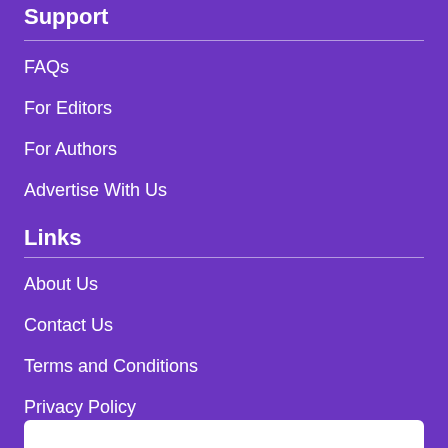Support
FAQs
For Editors
For Authors
Advertise With Us
Links
About Us
Contact Us
Terms and Conditions
Privacy Policy